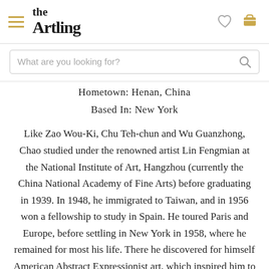the Artling — navigation header with hamburger menu, logo, heart icon, cart icon
What are you looking for?
Hometown: Henan, China
Based In: New York
Like Zao Wou-Ki, Chu Teh-chun and Wu Guanzhong, Chao studied under the renowned artist Lin Fengmian at the National Institute of Art, Hangzhou (currently the China National Academy of Fine Arts) before graduating in 1939. In 1948, he immigrated to Taiwan, and in 1956 won a fellowship to study in Spain. He toured Paris and Europe, before settling in New York in 1958, where he remained for most his life. There he discovered for himself American Abstract Expressionist art, which inspired him to work conscientiously to achieve a synthesis of East and West. The main subjects of Chao's work are